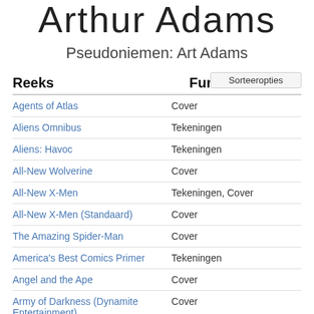Arthur Adams
Pseudoniemen: Art Adams
| Reeks | Functie |
| --- | --- |
| Agents of Atlas | Cover |
| Aliens Omnibus | Tekeningen |
| Aliens: Havoc | Tekeningen |
| All-New Wolverine | Cover |
| All-New X-Men | Tekeningen, Cover |
| All-New X-Men (Standaard) | Cover |
| The Amazing Spider-Man | Cover |
| America's Best Comics Primer | Tekeningen |
| Angel and the Ape | Cover |
| Army of Darkness (Dynamite Entertainment) | Cover |
| Astonishing X-men | Cover |